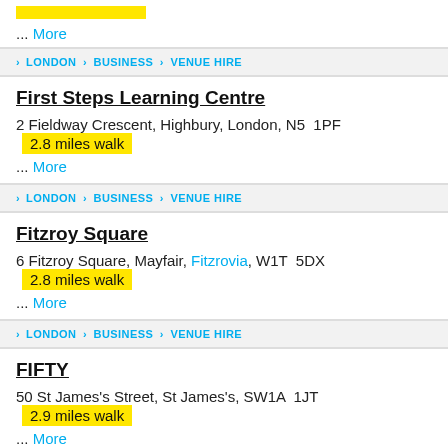... More
› LONDON › BUSINESS › VENUE HIRE
First Steps Learning Centre
2 Fieldway Crescent, Highbury, London, N5  1PF  2.8 miles walk
... More
› LONDON › BUSINESS › VENUE HIRE
Fitzroy Square
6 Fitzroy Square, Mayfair, Fitzrovia, W1T  5DX  2.8 miles walk
... More
› LONDON › BUSINESS › VENUE HIRE
FIFTY
50 St James's Street, St James's, SW1A  1JT  2.9 miles walk
... More